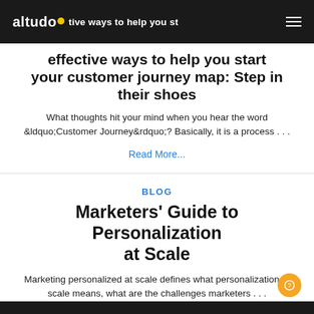altudo
effective ways to help you start your customer journey map: Step in their shoes
What thoughts hit your mind when you hear the word &ldquo;Customer Journey&rdquo;? Basically, it is a process . . .
Read More...
BLOG
Marketers' Guide to Personalization at Scale
Marketing personalized at scale defines what personalization at scale means, what are the challenges marketers . . .
Read More...